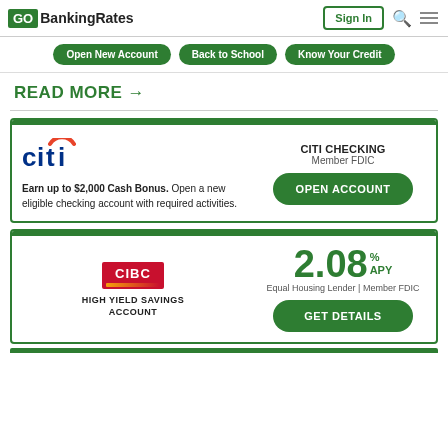GOBankingRates | Sign In
Open New Account | Back to School | Know Your Credit
READ MORE →
[Figure (infographic): Citi bank advertisement card: Earn up to $2,000 Cash Bonus. Open a new eligible checking account with required activities. CITI CHECKING Member FDIC. OPEN ACCOUNT button.]
[Figure (infographic): CIBC High Yield Savings Account advertisement: 2.08% APY, Equal Housing Lender | Member FDIC. GET DETAILS button.]